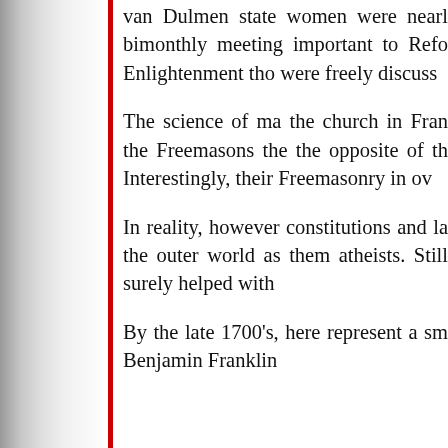van Dulmen state women were nearl bimonthly meeting important to Refo Enlightenment tho were freely discuss
The science of ma the church in Fran the Freemasons the the opposite of th Interestingly, their Freemasonry in ov
In reality, however constitutions and la the outer world as them atheists. Still surely helped with
By the late 1700's, here represent a sm Benjamin Franklin